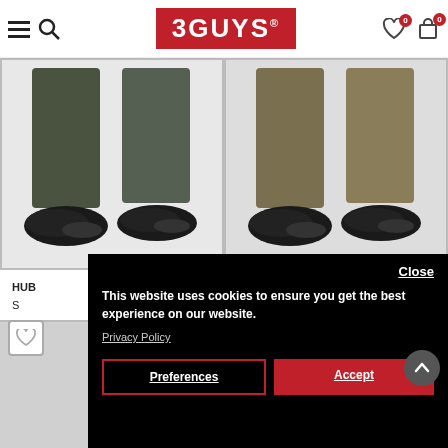[Figure (screenshot): 3GUYS retail website header with hamburger menu, search icon, red 3GUYS logo, wishlist and cart icons with 0 badges]
[Figure (photo): Two side-by-side product photos showing lower half of male models wearing olive/khaki trousers with black sneakers on white background]
HUB
S
[Figure (screenshot): Cookie consent banner overlay on black background with Close button, message about cookies, Privacy Policy link, Preferences and Accept buttons, and scroll-to-top arrow button]